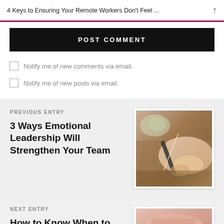4 Keys to Ensuring Your Remote Workers Don't Feel ...
POST COMMENT
Notify me of new comments via email.
Notify me of new posts via email.
PREVIOUS ENTRY
3 Ways Emotional Leadership Will Strengthen Your Team
[Figure (photo): Person writing with a quill pen on paper, close-up view]
NEXT ENTRY
How to Know When to
[Figure (photo): Partial view of a photo related to the next entry]